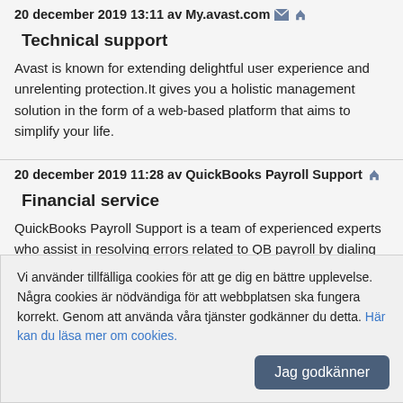20 december 2019 13:11 av My.avast.com
Technical support
Avast is known for extending delightful user experience and unrelenting protection.It gives you a holistic management solution in the form of a web-based platform that aims to simplify your life.
20 december 2019 11:28 av QuickBooks Payroll Support
Financial service
QuickBooks Payroll Support is a team of experienced experts who assist in resolving errors related to QB payroll by dialing QuickBooks Payroll Support Phone Number.
Vi använder tillfälliga cookies för att ge dig en bättre upplevelse. Några cookies är nödvändiga för att webbplatsen ska fungera korrekt. Genom att använda våra tjänster godkänner du detta. Här kan du läsa mer om cookies.